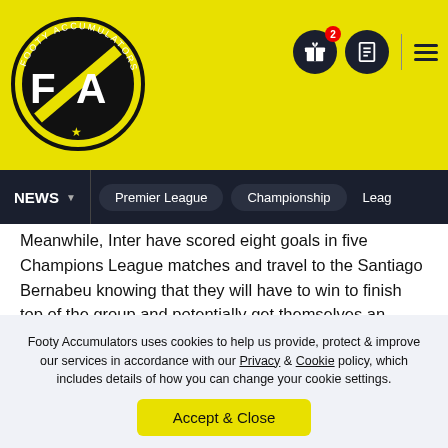[Figure (logo): Footy Accumulators logo - circular badge with FA initials on yellow background]
NEWS | Premier League | Championship | Leag...
Meanwhile, Inter have scored eight goals in five Champions League matches and travel to the Santiago Bernabeu knowing that they will have to win to finish top of the group and potentially get themselves an easier tie for the Round of 16, so they will be forced to attack, hence for the tip of Real Madrid to win and both teams to score.
CHAMPIONS LEAGUE MATCH RESULT & BTTS TIPS
Footy Accumulators uses cookies to help us provide, protect & improve our services in accordance with our Privacy & Cookie policy, which includes details of how you can change your cookie settings.